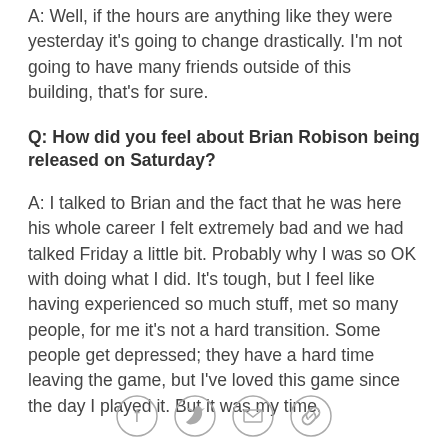A: Well, if the hours are anything like they were yesterday it's going to change drastically. I'm not going to have many friends outside of this building, that's for sure.
Q: How did you feel about Brian Robison being released on Saturday?
A: I talked to Brian and the fact that he was here his whole career I felt extremely bad and we had talked Friday a little bit. Probably why I was so OK with doing what I did. It's tough, but I feel like having experienced so much stuff, met so many people, for me it's not a hard transition. Some people get depressed; they have a hard time leaving the game, but I've loved this game since the day I played it. But it was my time.
[Figure (other): Social sharing icons: Facebook, Twitter, Email, Link]